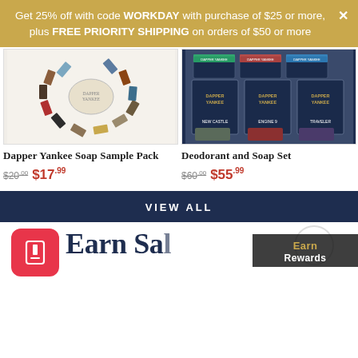Get 25% off with code WORKDAY with purchase of $25 or more, plus FREE PRIORITY SHIPPING on orders of $50 or more
[Figure (photo): Dapper Yankee soap sample pack arranged in a circle with a small cloth bag in the center]
[Figure (photo): Dapper Yankee Deodorant and Soap Set with branded boxes and soap bars]
Dapper Yankee Soap Sample Pack
$20.00  $17.99
Deodorant and Soap Set
$60.00  $55.99
VIEW ALL
Earn Rewards